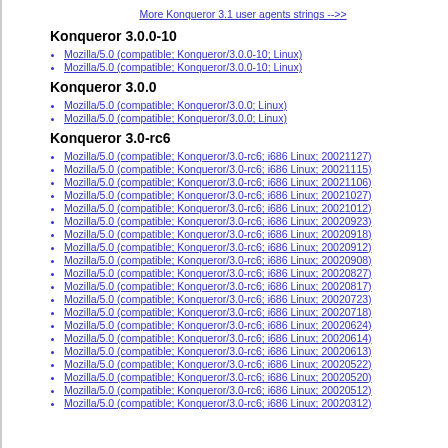More Konqueror 3.1 user agents strings -->>
Konqueror 3.0.0-10
Mozilla/5.0 (compatible; Konqueror/3.0.0-10; Linux)
Mozilla/5.0 (compatible; Konqueror/3.0.0-10; Linux)
Konqueror 3.0.0
Mozilla/5.0 (compatible; Konqueror/3.0.0; Linux)
Mozilla/5.0 (compatible; Konqueror/3.0.0; Linux)
Konqueror 3.0-rc6
Mozilla/5.0 (compatible; Konqueror/3.0-rc6; i686 Linux; 20021127)
Mozilla/5.0 (compatible; Konqueror/3.0-rc6; i686 Linux; 20021115)
Mozilla/5.0 (compatible; Konqueror/3.0-rc6; i686 Linux; 20021106)
Mozilla/5.0 (compatible; Konqueror/3.0-rc6; i686 Linux; 20021027)
Mozilla/5.0 (compatible; Konqueror/3.0-rc6; i686 Linux; 20021012)
Mozilla/5.0 (compatible; Konqueror/3.0-rc6; i686 Linux; 20020923)
Mozilla/5.0 (compatible; Konqueror/3.0-rc6; i686 Linux; 20020918)
Mozilla/5.0 (compatible; Konqueror/3.0-rc6; i686 Linux; 20020912)
Mozilla/5.0 (compatible; Konqueror/3.0-rc6; i686 Linux; 20020908)
Mozilla/5.0 (compatible; Konqueror/3.0-rc6; i686 Linux; 20020827)
Mozilla/5.0 (compatible; Konqueror/3.0-rc6; i686 Linux; 20020817)
Mozilla/5.0 (compatible; Konqueror/3.0-rc6; i686 Linux; 20020723)
Mozilla/5.0 (compatible; Konqueror/3.0-rc6; i686 Linux; 20020718)
Mozilla/5.0 (compatible; Konqueror/3.0-rc6; i686 Linux; 20020624)
Mozilla/5.0 (compatible; Konqueror/3.0-rc6; i686 Linux; 20020614)
Mozilla/5.0 (compatible; Konqueror/3.0-rc6; i686 Linux; 20020613)
Mozilla/5.0 (compatible; Konqueror/3.0-rc6; i686 Linux; 20020522)
Mozilla/5.0 (compatible; Konqueror/3.0-rc6; i686 Linux; 20020520)
Mozilla/5.0 (compatible; Konqueror/3.0-rc6; i686 Linux; 20020512)
Mozilla/5.0 (compatible; Konqueror/3.0-rc6; i686 Linux; 20020312)